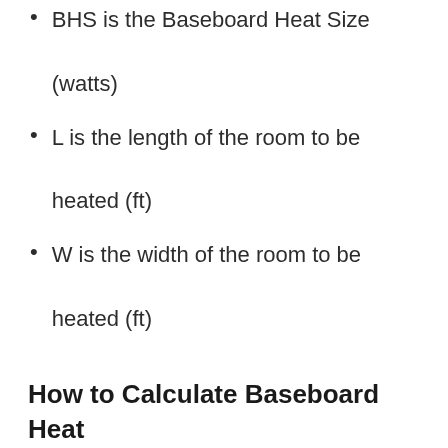BHS is the Baseboard Heat Size (watts)
L is the length of the room to be heated (ft)
W is the width of the room to be heated (ft)
How to Calculate Baseboard Heat Size?
The following steps outline how a